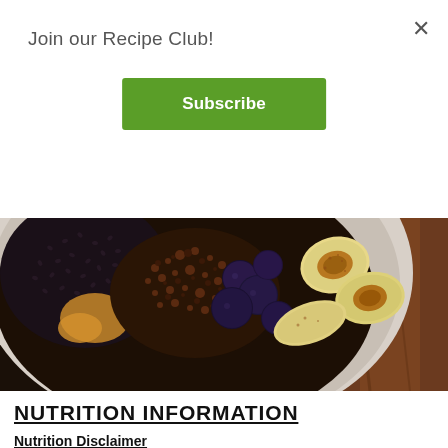×
Join our Recipe Club!
Subscribe
[Figure (photo): Overhead close-up photo of a bowl containing chia seeds, peanut butter, chocolate granola crumbles, blueberries, and caramelized banana slices with cinnamon, on a dark wooden surface.]
NUTRITION INFORMATION
Nutrition Disclaimer